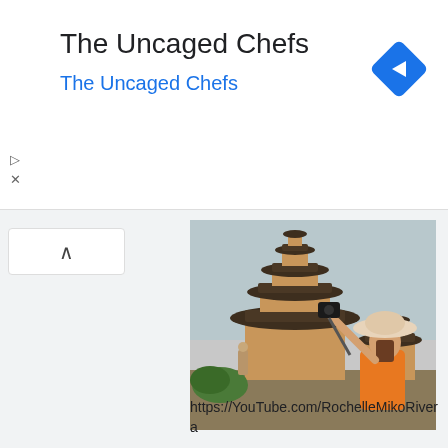The Uncaged Chefs
The Uncaged Chefs
[Figure (photo): Woman in orange top and wide-brim hat taking a selfie with a camera on a monopod, standing in front of a Balinese tiered temple (meru) with thatched roofs and golden-orange walls, overcast sky in background.]
https://YouTube.com/RochelleMikoRivera